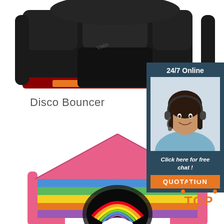[Figure (photo): Black inflatable disco bouncer castle viewed from the front, with orange and yellow color accents at the base]
Disco Bouncer
[Figure (infographic): Sidebar panel with dark blue/teal background. Shows '24/7 Online' text, a photo of a smiling woman with a headset, and below: 'Click here for free chat!' with an orange QUOTATION button]
[Figure (photo): Colorful inflatable bouncy castle with pink roof and rainbow-striped sides (blue, green, yellow, orange, purple), with a rainbow decoration at the entrance]
[Figure (illustration): Orange 'TOP' badge with dotted arc above the text]